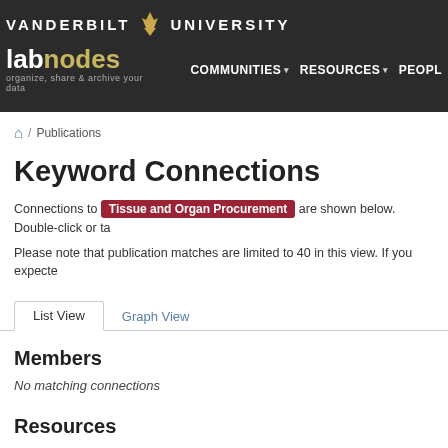VANDERBILT UNIVERSITY — labnodes — organize, share & archive your data — COMMUNITIES — RESOURCES — PEOPLE
/ Publications
Keyword Connections
Connections to Tissue and Organ Procurement are shown below. Double-click or ta...
Please note that publication matches are limited to 40 in this view. If you expecte...
List View  Graph View
Members
No matching connections
Resources